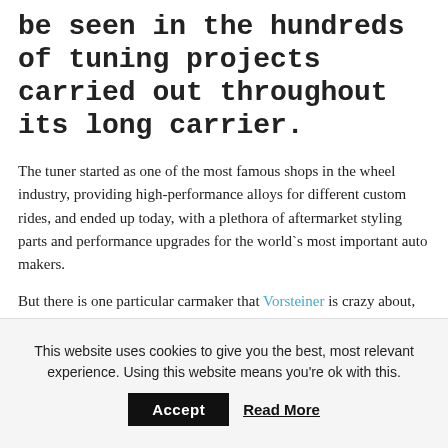be seen in the hundreds of tuning projects carried out throughout its long carrier.
The tuner started as one of the most famous shops in the wheel industry, providing high-performance alloys for different custom rides, and ended up today, with a plethora of aftermarket styling parts and performance upgrades for the world`s most important auto makers.
But there is one particular carmaker that Vorsteiner is crazy about, and that would be BMW. Its dedication is also reflected in this nicely wrapped BMW M2 Coupe, the model receiving the usual stuffs from the shop...well, not that usual, as each project is really unique.
This website uses cookies to give you the best, most relevant experience. Using this website means you're ok with this.